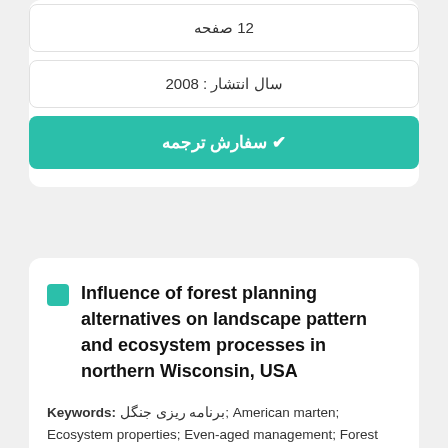12 صفحه
سال انتشار : 2008
✔ سفارش ترجمه
Influence of forest planning alternatives on landscape pattern and ecosystem processes in northern Wisconsin, USA
Keywords: برنامه ریزی جنگل; American marten; Ecosystem properties; Even-aged management; Forest planning; Kirtland's warbler; Landscape